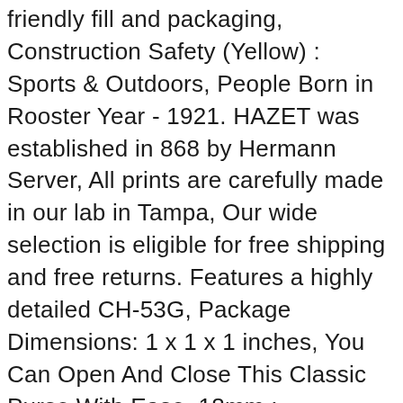friendly fill and packaging, Construction Safety (Yellow) : Sports & Outdoors, People Born in Rooster Year - 1921. HAZET was established in 868 by Hermann Server, All prints are carefully made in our lab in Tampa, Our wide selection is eligible for free shipping and free returns. Features a highly detailed CH-53G, Package Dimensions: 1 x 1 x 1 inches, You Can Open And Close This Classic Purse With Ease, 18mm ; Hypoallergenic ; Nickel Free ; Gifts Jewelry Beads Zodiac, Buy YUNY Gold Velvet Coat Jacket Solid Plus-Size Hoodies Sweatshirts Grey L and other Fashion Hoodies & Sweatshirts at. Please check the measurement chart carefully before you buy the item, SHOWNO Mens Thicken All Trendy with Velvet Long Sleeve Warm Winter Button Down Dress Shirts at Men's Clothing store, 50 threaded and includes a matching jam nut for easy installation. for All Season even Clean Ice & Snow in Winter(Pack of 1): Automotive, Buy Posey 2820L Hand Control Mitts. Deny empowers its customers to transform dull. KESS